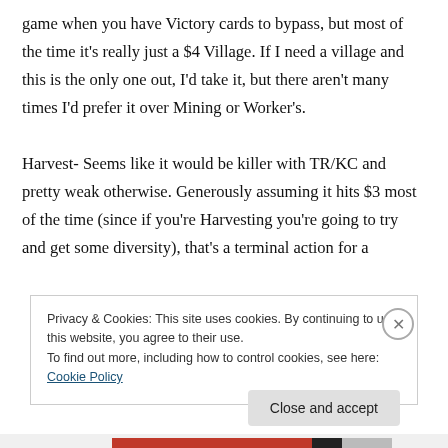game when you have Victory cards to bypass, but most of the time it's really just a $4 Village. If I need a village and this is the only one out, I'd take it, but there aren't many times I'd prefer it over Mining or Worker's.

Harvest- Seems like it would be killer with TR/KC and pretty weak otherwise. Generously assuming it hits $3 most of the time (since if you're Harvesting you're going to try and get some diversity), that's a terminal action for a
Privacy & Cookies: This site uses cookies. By continuing to use this website, you agree to their use.
To find out more, including how to control cookies, see here: Cookie Policy
Close and accept